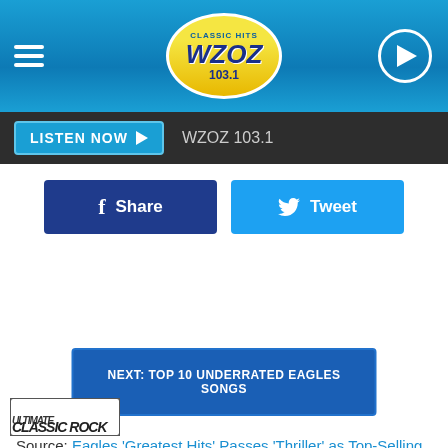[Figure (screenshot): WZOZ 103.1 Classic Hits radio station header with logo, hamburger menu, and play button on blue gradient background]
LISTEN NOW ► WZOZ 103.1
f Share
Tweet
NEXT: TOP 10 UNDERRATED EAGLES SONGS
Source: Eagles 'Greatest Hits' Passes 'Thriller' as Top-Selling Album